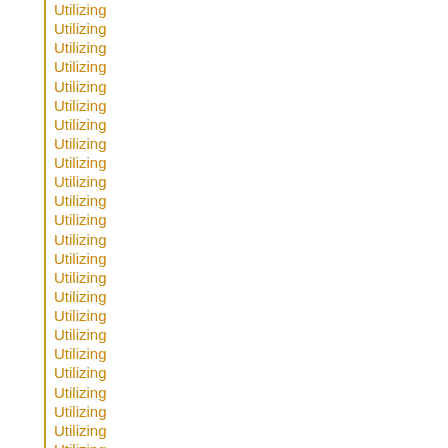Utilizing
Utilizing
Utilizing
Utilizing
Utilizing
Utilizing
Utilizing
Utilizing
Utilizing
Utilizing
Utilizing
Utilizing
Utilizing
Utilizing
Utilizing
Utilizing
Utilizing
Utilizing
Utilizing
Utilizing
Utilizing
Utilizing
Utilizing
Utilizing
Utilizing
Utilizing
Utilizing//goo.gl/tWek4y
Utilizing
Utilizing